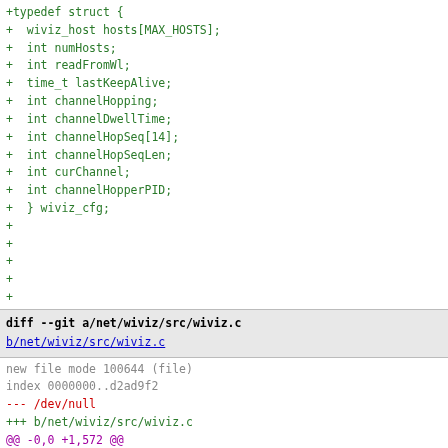+typedef struct {
+  wiviz_host hosts[MAX_HOSTS];
+  int numHosts;
+  int readFromWl;
+  time_t lastKeepAlive;
+  int channelHopping;
+  int channelDwellTime;
+  int channelHopSeq[14];
+  int channelHopSeqLen;
+  int curChannel;
+  int channelHopperPID;
+  } wiviz_cfg;
+
+
+
+
+
diff --git a/net/wiviz/src/wiviz.c b/net/wiviz/src/wiviz.c
new file mode 100644 (file)
index 0000000..d2ad9f2
--- /dev/null
+++ b/net/wiviz/src/wiviz.c
@@ -0,0 +1,572 @@
+/*
+This file is part of Wi-viz (http://wiviz.natetrue.com).
++Wi-viz is free software; you can redistribute it and/or mod
+it under the terms of the GNU General Public License v2 as
+the Free Software Foundation.
+